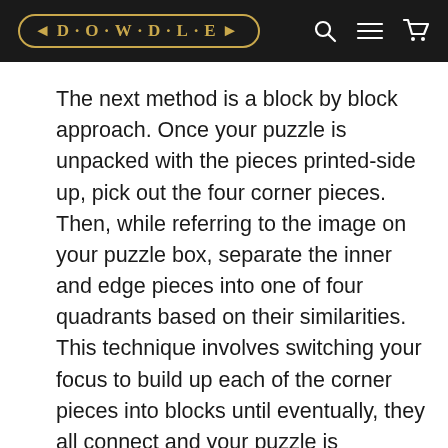DOWDLE
The next method is a block by block approach. Once your puzzle is unpacked with the pieces printed-side up, pick out the four corner pieces. Then, while referring to the image on your puzzle box, separate the inner and edge pieces into one of four quadrants based on their similarities. This technique involves switching your focus to build up each of the corner pieces into blocks until eventually, they all connect and your puzzle is complete.